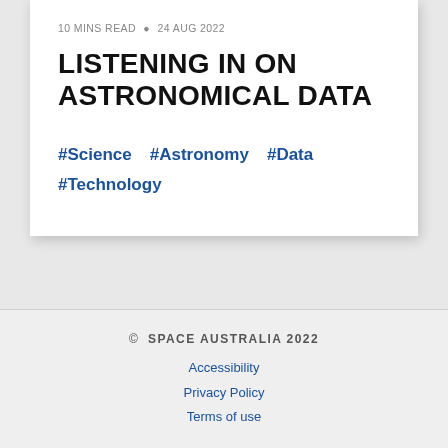10 MINS READ • 24 AUG 2022
LISTENING IN ON ASTRONOMICAL DATA
#Science   #Astronomy   #Data
#Technology
© SPACE AUSTRALIA 2022
Accessibility
Privacy Policy
Terms of use